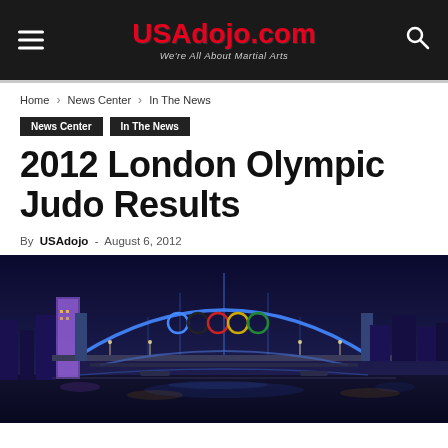USAdojo.com — We're All About Martial Arts
Home › News Center › In The News
News Center   In The News
2012 London Olympic Judo Results
By USAdojo - August 6, 2012
[Figure (photo): Night photo of a large illuminated arch bridge with the Olympic rings displayed on it, reflected in the river below, city buildings and lights in the background]